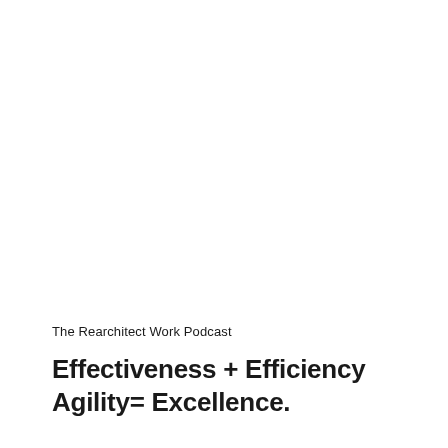The Rearchitect Work Podcast
Effectiveness + Efficiency Agility= Excellence.